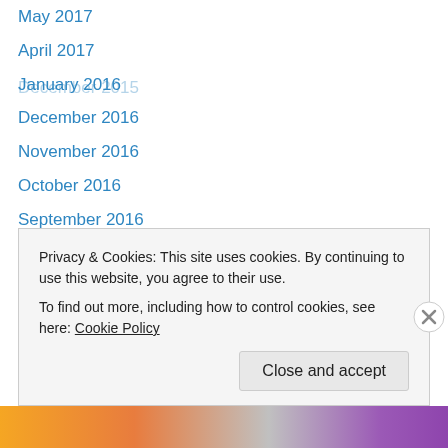May 2017
April 2017
January 2016
December 2016
November 2016
October 2016
September 2016
August 2016
July 2016
June 2016
March 2016
February 2016
January 2016
Privacy & Cookies: This site uses cookies. By continuing to use this website, you agree to their use.
To find out more, including how to control cookies, see here: Cookie Policy